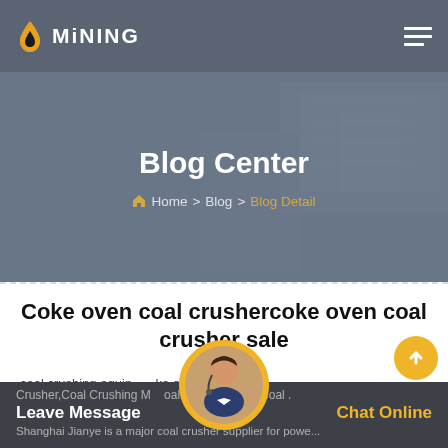MINING
Blog Center
Home > Blog > Blog Detail
Coke oven coal crushercoke oven coal crusher sale
coal crushing equipment for coke oven plant. Coal Crusher,Coal Crushing Machine,Coal Crusher Plant,Coal...
Leave Message   Chat Online
Shanghai Jianye is a major coal crusher supplier for powe...